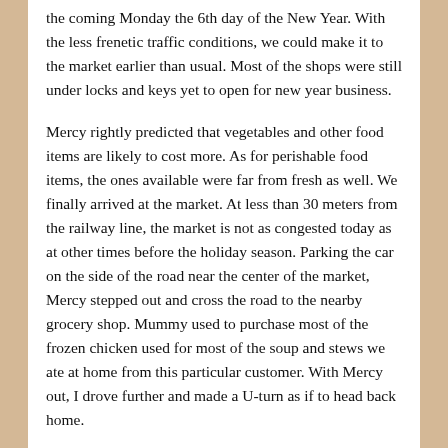the coming Monday the 6th day of the New Year. With the less frenetic traffic conditions, we could make it to the market earlier than usual. Most of the shops were still under locks and keys yet to open for new year business.
Mercy rightly predicted that vegetables and other food items are likely to cost more. As for perishable food items, the ones available were far from fresh as well. We finally arrived at the market. At less than 30 meters from the railway line, the market is not as congested today as at other times before the holiday season. Parking the car on the side of the road near the center of the market, Mercy stepped out and cross the road to the nearby grocery shop. Mummy used to purchase most of the frozen chicken used for most of the soup and stews we ate at home from this particular customer. With Mercy out, I drove further and made a U-turn as if to head back home.
The shop was filled with several customers who were making last-minute purchases for the first weekend of the